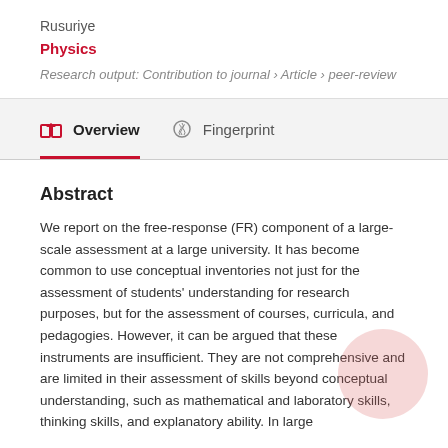Rusuriye
Physics
Research output: Contribution to journal › Article › peer-review
Overview
Fingerprint
Abstract
We report on the free-response (FR) component of a large-scale assessment at a large university. It has become common to use conceptual inventories not just for the assessment of students' understanding for research purposes, but for the assessment of courses, curricula, and pedagogies. However, it can be argued that these instruments are insufficient. They are not comprehensive and are limited in their assessment of skills beyond conceptual understanding, such as mathematical and laboratory skills, thinking skills, and explanatory ability. In large